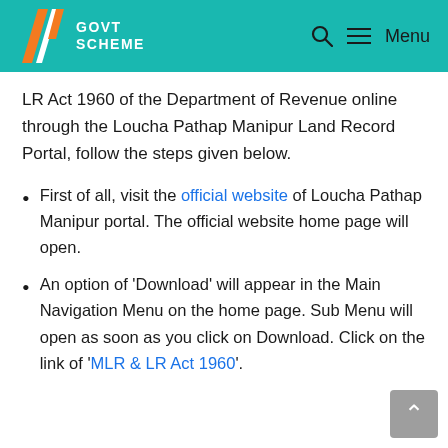[Figure (logo): Govt Scheme website header with teal background, logo with orange/white W shapes and text 'GOVT SCHEME', and search/menu icons on the right]
LR Act 1960 of the Department of Revenue online through the Loucha Pathap Manipur Land Record Portal, follow the steps given below.
First of all, visit the official website of Loucha Pathap Manipur portal. The official website home page will open.
An option of 'Download' will appear in the Main Navigation Menu on the home page. Sub Menu will open as soon as you click on Download. Click on the link of 'MLR & LR Act 1960'.